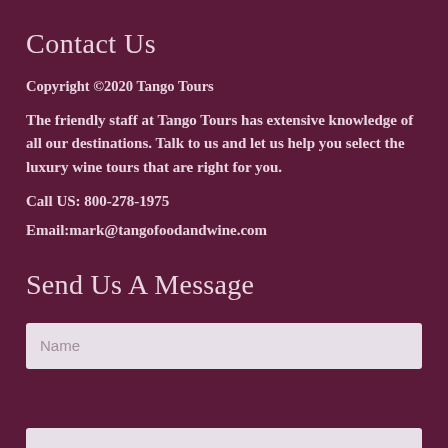Contact Us
Copyright ©2020 Tango Tours
The friendly staff at Tango Tours has extensive knowledge of all our destinations. Talk to us and let us help you select the luxury wine tours that are right for you.
Call US: 800-278-1975
Email:mark@tangofoodandwine.com
Send Us A Message
Name (form input placeholder)